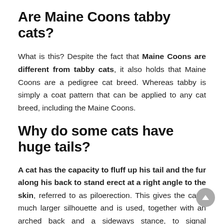Are Maine Coons tabby cats?
What is this? Despite the fact that Maine Coons are different from tabby cats, it also holds that Maine Coons are a pedigree cat breed. Whereas tabby is simply a coat pattern that can be applied to any cat breed, including the Maine Coons.
Why do some cats have huge tails?
A cat has the capacity to fluff up his tail and the fur along his back to stand erect at a right angle to the skin, referred to as piloerection. This gives the cat a much larger silhouette and is used, together with an arched back and a sideways stance, to signal defensive